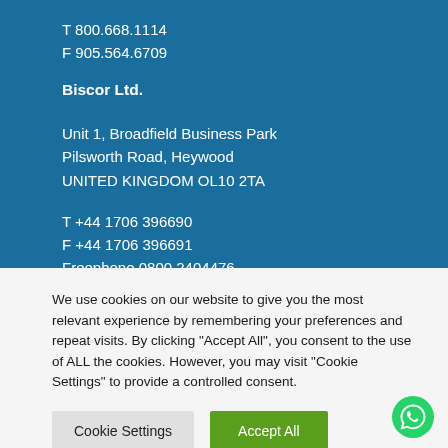T 800.668.1114
F 905.564.6709
Biscor Ltd.
Unit 1, Broadfield Business Park
Pilsworth Road, Heywood
UNITED KINGDOM OL10 2TA
T +44 1706 396690
F +44 1706 396691
Freephone 0800 2404476
We use cookies on our website to give you the most relevant experience by remembering your preferences and repeat visits. By clicking "Accept All", you consent to the use of ALL the cookies. However, you may visit "Cookie Settings" to provide a controlled consent.
Cookie Settings
Accept All